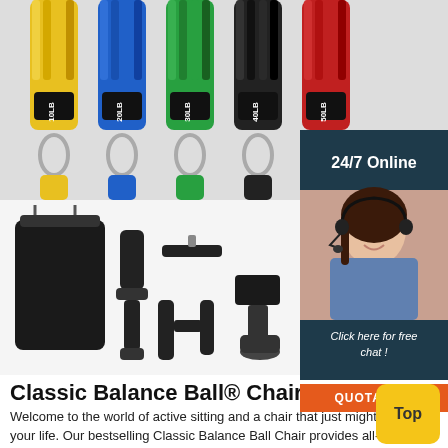[Figure (photo): Resistance bands in multiple colors (yellow, blue, green, black, red) labeled 10LB, 20LB, 30LB, 40LB, 50LB with carabiner clips, shown from top]
[Figure (photo): Fitness accessories: black drawstring bag, handle grips, ankle strap, door anchor]
[Figure (photo): Customer service agent woman with headset smiling, with 24/7 Online label and Click here for free chat / QUOTATION button overlay]
Classic Balance Ball® Chair - Gaiam
Welcome to the world of active sitting and a chair that just might change your life. Our bestselling Classic Balance Ball Chair provides all-day